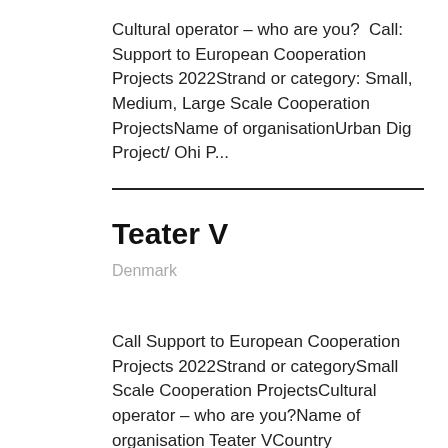Cultural operator – who are you? &nbsp;Call: Support to European Cooperation Projects 2022Strand or category: Small, Medium, Large Scale Cooperation ProjectsName of organisationUrban Dig Project/ Ohi P...
Teater V
Denmark
Call Support to European Cooperation Projects 2022Strand or categorySmall Scale Cooperation ProjectsCultural operator – who are you?Name of organisation Teater VCountry DenmarkOrganisation website htt...